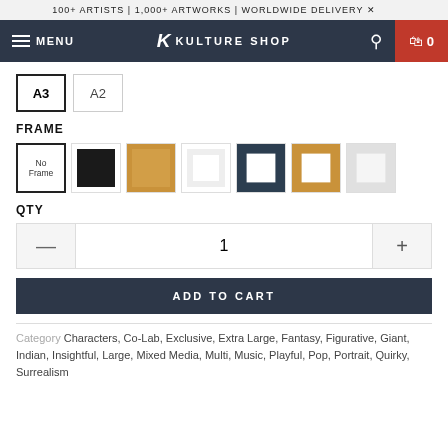100+ ARTISTS | 1,000+ ARTWORKS | WORLDWIDE DELIVERY
[Figure (screenshot): Kulture Shop navigation bar with hamburger menu, logo, search icon, and cart button showing 0 items]
A3  A2
FRAME
[Figure (other): Frame selection options: No Frame (selected), black frame, natural wood frame, white frame, dark frame with white mat, natural wood with white mat, white with gray mat]
QTY
1
ADD TO CART
Category Characters, Co-Lab, Exclusive, Extra Large, Fantasy, Figurative, Giant, Indian, Insightful, Large, Mixed Media, Multi, Music, Playful, Pop, Portrait, Quirky, Surrealism